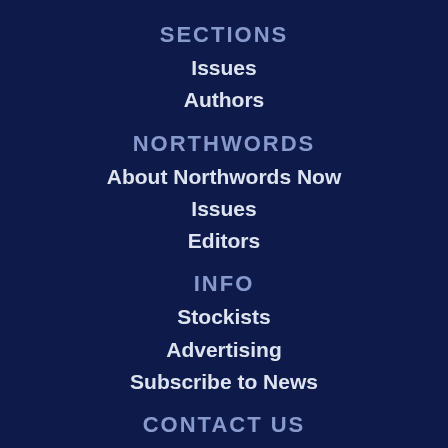SECTIONS
Issues
Authors
NORTHWORDS
About Northwords Now
Issues
Editors
INFO
Stockists
Advertising
Subscribe to News
CONTACT US
Editor: editor@
Advertising: advertise@